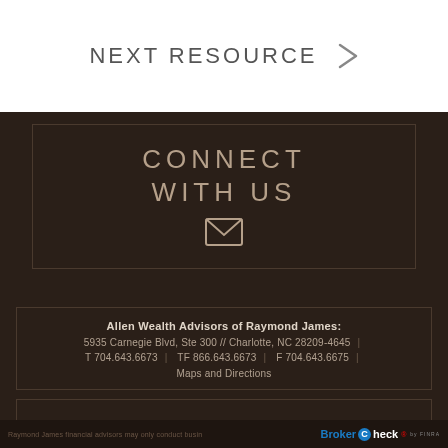NEXT RESOURCE >
CONNECT WITH US
Allen Wealth Advisors of Raymond James:
5935 Carnegie Blvd, Ste 300 // Charlotte, NC 28209-4645
T 704.643.6673  |  TF 866.643.6673  |  F 704.643.6675
Maps and Directions
Raymond James financial advisors may only conduct busin... BrokerCheck by FINRA